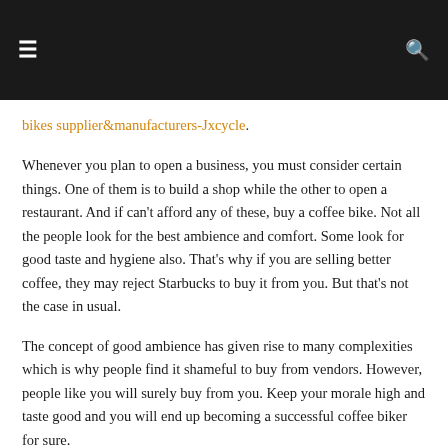≡  [navigation bar with search icon]
bikes supplier&manufacturers-Jxcycle.
Whenever you plan to open a business, you must consider certain things. One of them is to build a shop while the other to open a restaurant. And if can't afford any of these, buy a coffee bike. Not all the people look for the best ambience and comfort. Some look for good taste and hygiene also. That's why if you are selling better coffee, they may reject Starbucks to buy it from you. But that's not the case in usual.
The concept of good ambience has given rise to many complexities which is why people find it shameful to buy from vendors. However, people like you will surely buy from you. Keep your morale high and taste good and you will end up becoming a successful coffee biker for sure.